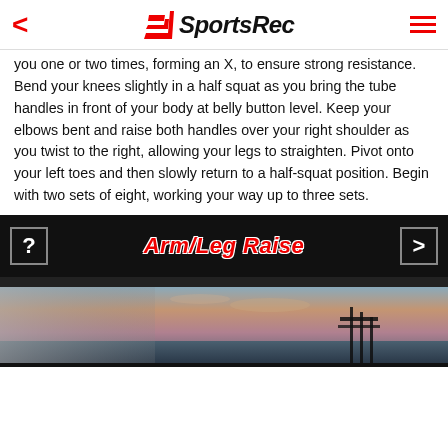SportsRec
you one or two times, forming an X, to ensure strong resistance. Bend your knees slightly in a half squat as you bring the tube handles in front of your body at belly button level. Keep your elbows bent and raise both handles over your right shoulder as you twist to the right, allowing your legs to straighten. Pivot onto your left toes and then slowly return to a half-squat position. Begin with two sets of eight, working your way up to three sets.
[Figure (screenshot): Dark banner showing exercise name 'Arm/Leg Raise' with navigation buttons on either side, followed by a coastal/beach sunset photo strip]
Arm/Leg Raise